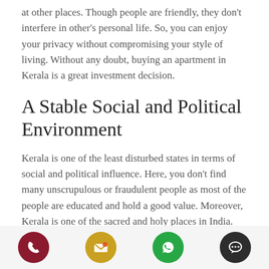at other places. Though people are friendly, they don't interfere in other's personal life. So, you can enjoy your privacy without compromising your style of living. Without any doubt, buying an apartment in Kerala is a great investment decision.
A Stable Social and Political Environment
Kerala is one of the least disturbed states in terms of social and political influence. Here, you don't find many unscrupulous or fraudulent people as most of the people are educated and hold a good value. Moreover, Kerala is one of the sacred and holy places in India. This place is crammed with many popular temples and shrines. Some of the famous temples are Sri Padmanabhaswamy temple, Ambalapuzha Sri Krishna temple,
[Figure (infographic): Footer bar with four circular icon buttons: phone (dark red), email (gold/yellow), WhatsApp (green), chat (dark/black)]